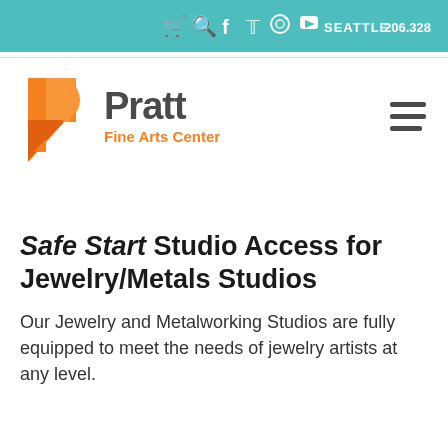🛒 🔍 f 𝕏 📷 ▶ SEATTLE  206.328.2200
[Figure (logo): Pratt Fine Arts Center logo: orange stylized letter P with folded corner, beside bold gray 'Pratt' text and orange 'Fine Arts Center' subtitle]
Safe Start Studio Access for Jewelry/Metals Studios
Our Jewelry and Metalworking Studios are fully equipped to meet the needs of jewelry artists at any level.